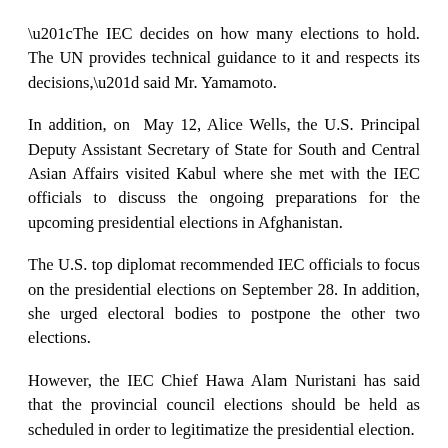“The IEC decides on how many elections to hold. The UN provides technical guidance to it and respects its decisions,” said Mr. Yamamoto.
In addition, on May 12, Alice Wells, the U.S. Principal Deputy Assistant Secretary of State for South and Central Asian Affairs visited Kabul where she met with the IEC officials to discuss the ongoing preparations for the upcoming presidential elections in Afghanistan.
The U.S. top diplomat recommended IEC officials to focus on the presidential elections on September 28. In addition, she urged electoral bodies to postpone the other two elections.
However, the IEC Chief Hawa Alam Nuristani has said that the provincial council elections should be held as scheduled in order to legitimatize the presidential election.